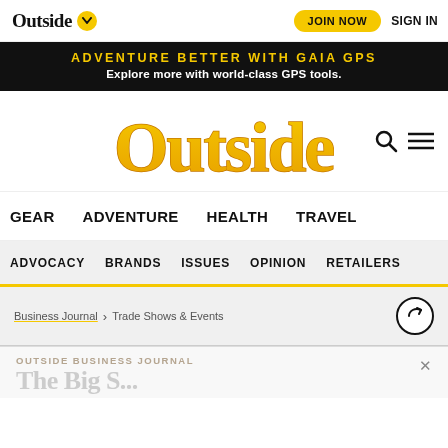Outside | JOIN NOW | SIGN IN
[Figure (infographic): Black advertisement banner: 'ADVENTURE BETTER WITH GAIA GPS' in yellow uppercase, 'Explore more with world-class GPS tools.' in white below]
[Figure (logo): Outside magazine logo in yellow/orange gradient with search and hamburger menu icons]
GEAR   ADVENTURE   HEALTH   TRAVEL
ADVOCACY   BRANDS   ISSUES   OPINION   RETAILERS
Business Journal > Trade Shows & Events
OUTSIDE BUSINESS JOURNAL